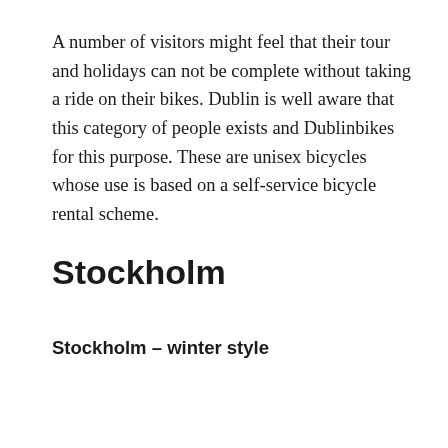A number of visitors might feel that their tour and holidays can not be complete without taking a ride on their bikes. Dublin is well aware that this category of people exists and Dublinbikes for this purpose. These are unisex bicycles whose use is based on a self-service bicycle rental scheme.
Stockholm
Stockholm – winter style